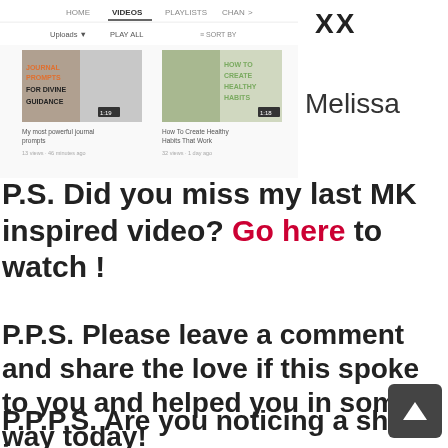[Figure (screenshot): YouTube channel page screenshot showing video thumbnails: 'My most powerful journal prompts' and 'How To Create Healthy Habits That Work', with navigation tabs HOME, VIDEOS, PLAYLISTS, CHAN at the top]
XX
Melissa
P.S. Did you miss my last MK inspired video? Go here to watch !
P.P.S. Please leave a comment and share the love if this spoke to you and helped you in some way today!
P.P.P.S. Are you noticing a shift in energy? Here are three other videos I created to